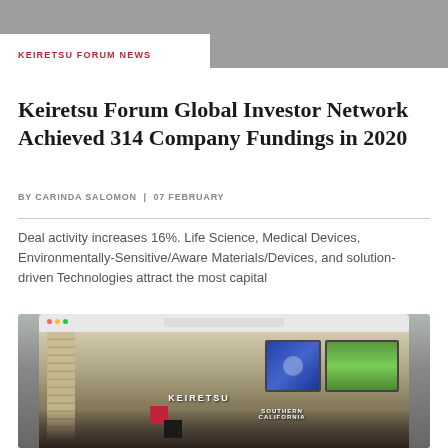KEIRETSU FORUM NEWS
Keiretsu Forum Global Investor Network Achieved 314 Company Fundings in 2020
BY CARINDA SALOMON | 07 FEBRUARY
Deal activity increases 16%. Life Science, Medical Devices, Environmentally-Sensitive/Aware Materials/Devices, and solution-driven Technologies attract the most capital
[Figure (photo): Screenshot of Keiretsu Forum website overlaid on a photo of a business meeting room with people seated at tables, presentation screens visible, and Keiretsu Southern California branding overlay]